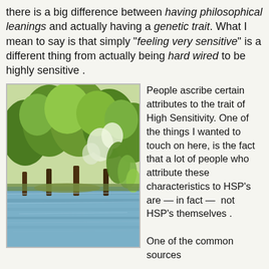there is a big difference between having philosophical leanings and actually having a genetic trait. What I mean to say is that simply "feeling very sensitive" is a different thing from actually being hard wired to be highly sensitive .
[Figure (photo): Outdoor nature photograph showing a lake or pond with lush green trees and foliage reflected in calm water. Bright summer scene.]
People ascribe certain attributes to the trait of High Sensitivity. One of the things I wanted to touch on here, is the fact that a lot of people who attribute these characteristics to HSP's are — in fact —  not HSP's themselves . One of the common sources